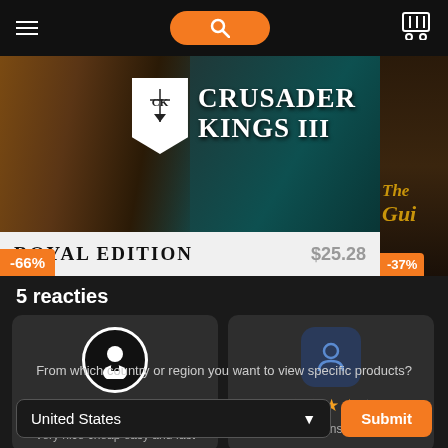Navigation bar with hamburger menu, search button, and cart icon
[Figure (screenshot): Crusader Kings III Royal Edition promotional banner with -66% discount and $25.28 price, and partial The Guild banner with -37% discount]
5 reacties
[Figure (infographic): Review card 1: 5-star rating, text 'Very nice cheap easy and fast']
[Figure (infographic): Review card 2: 4-star rating, text 'key delivered instantly, saved']
From which country or region you want to view specific products?
United States
Submit